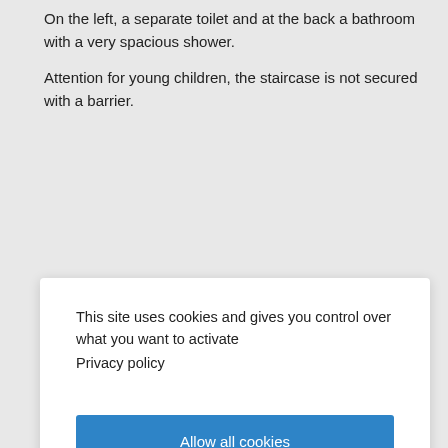On the left, a separate toilet and at the back a bathroom with a very spacious shower.
Attention for young children, the staircase is not secured with a barrier.
This site uses cookies and gives you control over what you want to activate
Privacy policy
Allow all cookies
Personalize
Deny all cookies